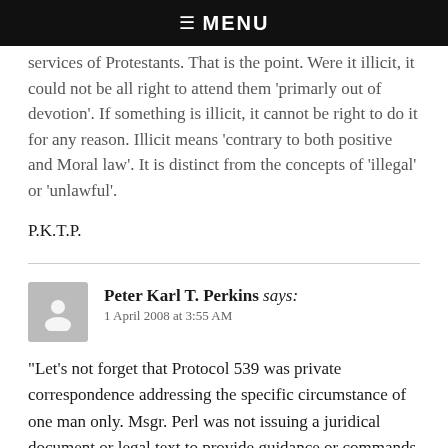☰ MENU
services of Protestants. That is the point. Were it illicit, it could not be all right to attend them 'primarly out of devotion'. If something is illicit, it cannot be right to do it for any reason. Illicit means 'contrary to both positive and Moral law'. It is distinct from the concepts of 'illegal' or 'unlawful'.
P.K.T.P.
Peter Karl T. Perkins says:
1 April 2008 at 3:55 AM
“Let’s not forget that Protocol 539 was private correspondence addressing the specific circumstance of one man only. Msgr. Perl was not issuing a juridical document or legal text to provide guidance or commands for the faithful. He was just sharing some insights and advice to help answer some